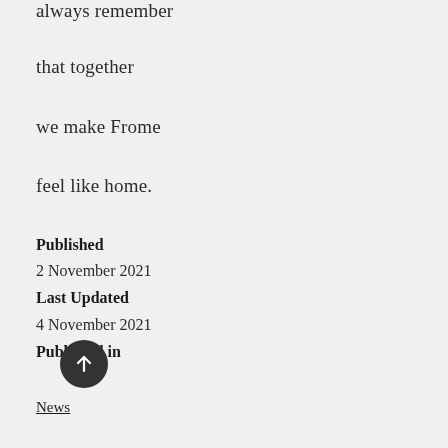always remember
that together
we make Frome
feel like home.
Published
2 November 2021
Last Updated
4 November 2021
Published in
News